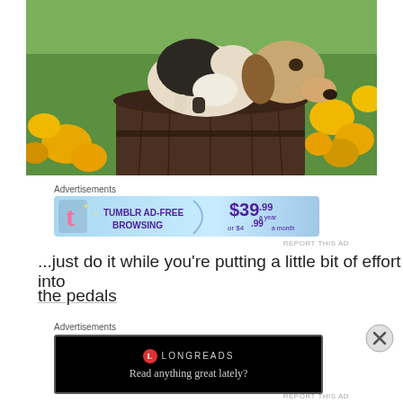[Figure (photo): Puppy (beagle mix) standing on top of a wooden barrel outdoors, surrounded by yellow flowers (California poppies), sniffing downward. Green foliage in background.]
Advertisements
[Figure (screenshot): Tumblr Ad-Free Browsing advertisement banner. Blue gradient background. Tumblr 't' logo on left. Text: 'TUMBLR AD-FREE BROWSING'. Price shown: $39.99 a year or $4.99 a month.]
REPORT THIS AD
...just do it while you're putting a little bit of effort into
the pedals
Advertisements
[Figure (screenshot): Longreads advertisement. Black background with border. Longreads red circle logo and name. Tagline: 'Read anything great lately?']
REPORT THIS AD